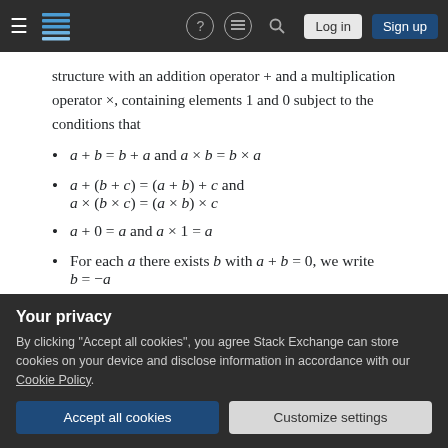Stack Exchange navigation bar with logo, help, chat, search, login, signup
structure with an addition operator + and a multiplication operator ×, containing elements 1 and 0 subject to the conditions that
a + b = b + a and a × b = b × a
a + (b + c) = (a + b) + c and a × (b × c) = (a × b) × c
a + 0 = a and a × 1 = a
For each a there exists b with a + b = 0, we write b = −a
Your privacy
By clicking "Accept all cookies", you agree Stack Exchange can store cookies on your device and disclose information in accordance with our Cookie Policy.
usual, but decree that 1 + 1 = 0. Now you have 2 = 0